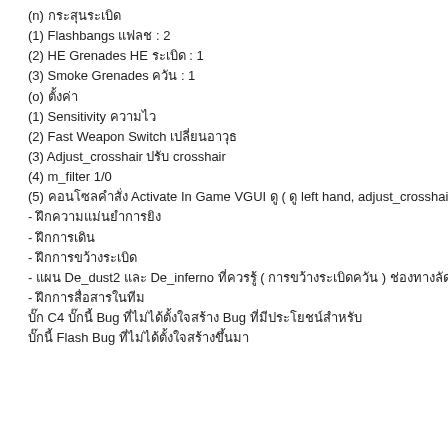(n) กระสุนระเบิด
(1) Flashbangs แฟลช : 2
(2) HE Grenades HE ระเบิด : 1
(3) Smoke Grenades ควัน : 1
(o) ตั้งค่า
(1) Sensitivity ความไว
(2) Fast Weapon Switch เปลี่ยนอาวุธ
(3) Adjust_crosshair ปรับ crosshair
(4) m_filter 1/0
(5) คอนโซลคำสั่ง Activate In Game VGUI ดู ( ดู left hand, adjust_crosshair
- ฝึกความแม่นยำการยิง
- ฝึกการเดิน
- ฝึกการขว้างระเบิด
- แผน De_dust2 และ De_inferno ที่ควรรู้ ( การขว้างระเบิดควัน ) ช่องทางลัด
- ฝึกการสื่อสารในทีม
บั๊ก C4 บั๊กนี้ Bug ที่ไม่ได้ตั้งใจสร้าง Bug ที่มีประโยชน์สำหรับ
บั๊กนี้ Flash Bug ที่ไม่ได้ตั้งใจสร้างขึ้นมา